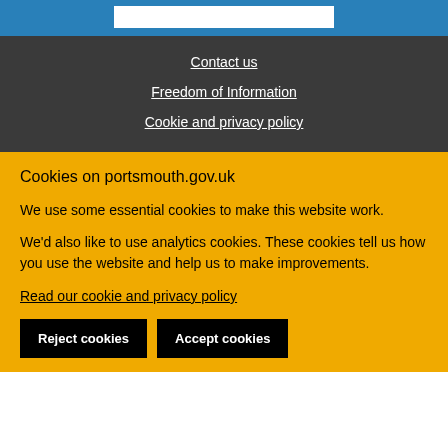Contact us
Freedom of Information
Cookie and privacy policy
Cookies on portsmouth.gov.uk
We use some essential cookies to make this website work.
We'd also like to use analytics cookies. These cookies tell us how you use the website and help us to make improvements.
Read our cookie and privacy policy
Reject cookies   Accept cookies